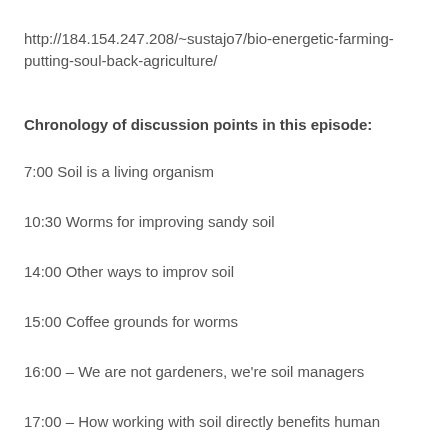http://184.154.247.208/~sustajo7/bio-energetic-farming-putting-soul-back-agriculture/
Chronology of discussion points in this episode:
7:00 Soil is a living organism
10:30 Worms for improving sandy soil
14:00 Other ways to improv soil
15:00 Coffee grounds for worms
16:00 – We are not gardeners, we're soil managers
17:00 – How working with soil directly benefits human